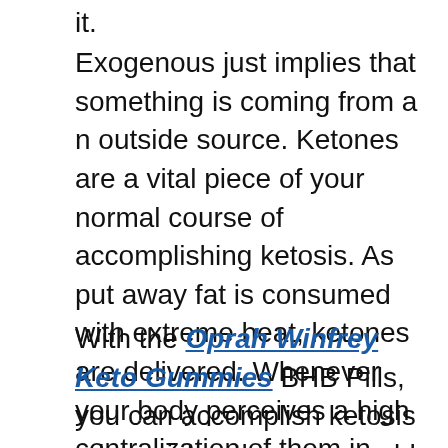it.
Exogenous just implies that something is coming from a n outside source. Ketones are a vital piece of your normal course of accomplishing ketosis. As put away fat is consumed with extreme heat, ketones are delivered. Whenever your body perceives a high centralization of them in your circulatory system, it triggers ketosis subsequently.
With the Oprah Winfrey Keto Gummies BHB Pills, you can accomplish ketosis a lot quicker than you could just by abstaining from excessive food